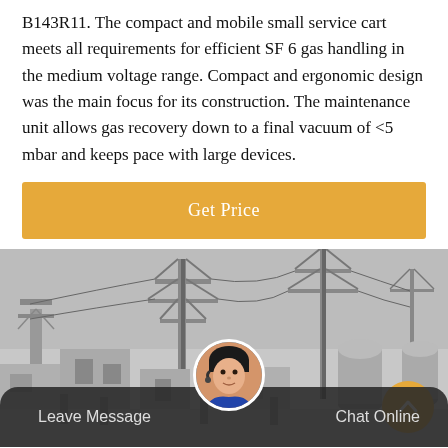B143R11. The compact and mobile small service cart meets all requirements for efficient SF 6 gas handling in the medium voltage range. Compact and ergonomic design was the main focus for its construction. The maintenance unit allows gas recovery down to a final vacuum of <5 mbar and keeps pace with large devices.
[Figure (other): Orange 'Get Price' button bar]
[Figure (photo): Electrical substation with transmission towers, power lines, and equipment in black and white/grey tones. An orange scroll-up button is in the bottom right corner.]
[Figure (other): Dark chat bar at bottom with 'Leave Message' on left, customer service agent avatar in center, and 'Chat Online' on right.]